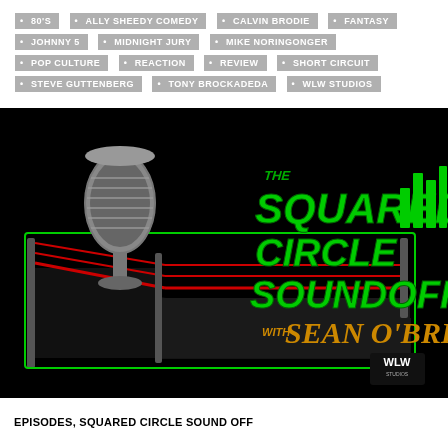80'S
ALLY SHEEDY COMEDY
CALVIN BRODIE
FANTASY
JOHNNY 5
MIDNIGHT JURY
MIKE NORINGONGER
POP CULTURE
REACTION
REVIEW
SHORT CIRCUIT
STEVE GUTTENBERG
TONY BROCKADEDA
WLW STUDIOS
[Figure (logo): The Squared Circle Soundoff with Sean O'Brien podcast logo on a black background. Features a vintage microphone in a wrestling ring graphic with green neon text reading THE SQUARED CIRCLE SOUNDOFF with SEAN O'BRIEN and WLW Studios branding.]
EPISODES, SQUARED CIRCLE SOUND OFF